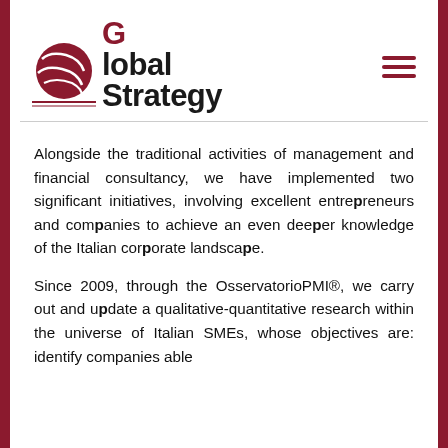[Figure (logo): Global Strategy logo with red sphere graphic and black/red text reading 'Global Strategy']
Alongside the traditional activities of management and financial consultancy, we have implemented two significant initiatives, involving excellent entrepreneurs and companies to achieve an even deeper knowledge of the Italian corporate landscape.
Since 2009, through the OsservatorioPMI®, we carry out and update a qualitative-quantitative research within the universe of Italian SMEs, whose objectives are: identify companies able